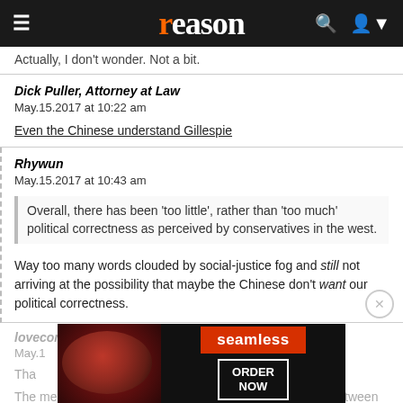reason
Actually, I don't wonder. Not a bit.
Dick Puller, Attorney at Law
May.15.2017 at 10:22 am
Even the Chinese understand Gillespie
Rhywun
May.15.2017 at 10:43 am
Overall, there has been 'too little', rather than 'too much' political correctness as perceived by conservatives in the west.
Way too many words clouded by social-justice fog and still not arriving at the possibility that maybe the Chinese don't want our political correctness.
loveconstitution1789
May.15.2017 at ...
The media could be talking about differences/similarities between